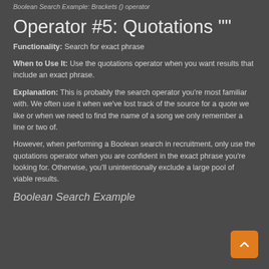Boolean Search Example: Brackets () operator
Operator #5: Quotations ""
Functionality: Search for exact phrase
When to Use It: Use the quotations operator when you want results that include an exact phrase.
Explanation: This is probably the search operator you're most familiar with. We often use it when we've lost track of the source for a quote we like or when we need to find the name of a song we only remember a line or two of.
However, when performing a Boolean search in recruitment, only use the quotations operator when you are confident in the exact phrase you're looking for. Otherwise, you'll unintentionally exclude a large pool of viable results.
Boolean Search Example